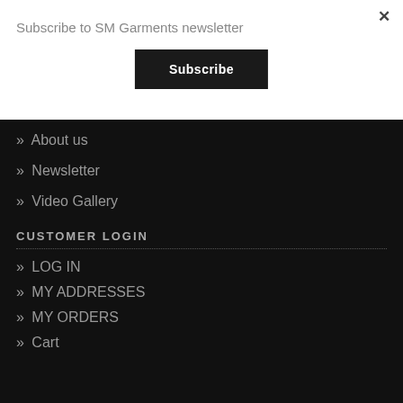Subscribe to SM Garments newsletter
Subscribe
×
» About us
» Newsletter
» Video Gallery
CUSTOMER LOGIN
» LOG IN
» MY ADDRESSES
» MY ORDERS
» Cart